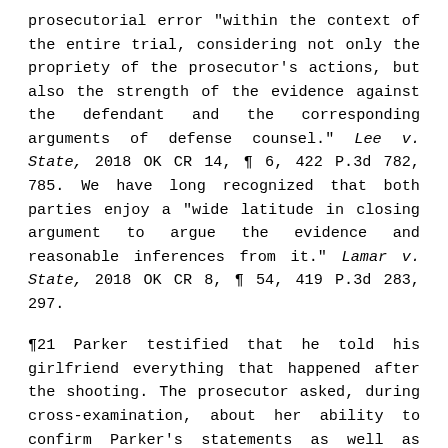prosecutorial error "within the context of the entire trial, considering not only the propriety of the prosecutor's actions, but also the strength of the evidence against the defendant and the corresponding arguments of defense counsel." Lee v. State, 2018 OK CR 14, ¶ 6, 422 P.3d 782, 785. We have long recognized that both parties enjoy a "wide latitude in closing argument to argue the evidence and reasonable inferences from it." Lamar v. State, 2018 OK CR 8, ¶ 54, 419 P.3d 283, 297.
¶21 Parker testified that he told his girlfriend everything that happened after the shooting. The prosecutor asked, during cross-examination, about her ability to confirm Parker's statements as well as Parker's ability to call her as a witness. The district court sustained each of defense counsel's objections. The prosecutor later asked Parker about producing a witness to verify his account of the shooting and what he claimed the victim had said. The